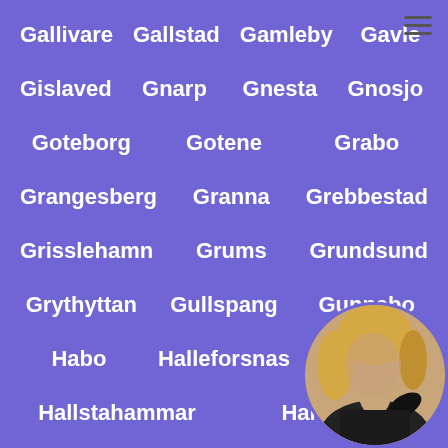Gallivare
Gallstad
Gamleby
Gavle
Gislaved
Gnarp
Gnesta
Gnosjo
Goteborg
Gotene
Grabo
Grangesberg
Granna
Grebbestad
Grisslehamn
Grums
Grundsund
Grythyttan
Gullspang
Gunnebo
Habo
Halleforsnas
Hallen
Hallstahammar
Halmstad
Hamburgsund
Hammars...
Haparanda
Harnosand
H...
Hassala
Hassleholm
Haverdal
[Figure (photo): Circular avatar photo of a woman with blonde wavy hair, wearing black clothing, partially visible in the bottom-right corner of the page.]